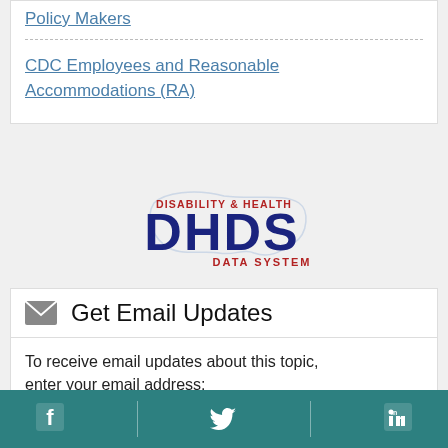Policy Makers
CDC Employees and Reasonable Accommodations (RA)
[Figure (logo): Disability & Health DHDS Data System logo — dark red uppercase text 'DISABILITY & HEALTH' above large dark blue 'DHDS' letters with US map watermark behind, and 'DATA SYSTEM' in small dark red text below]
Get Email Updates
To receive email updates about this topic, enter your email address:
Facebook | Twitter | LinkedIn social media icons